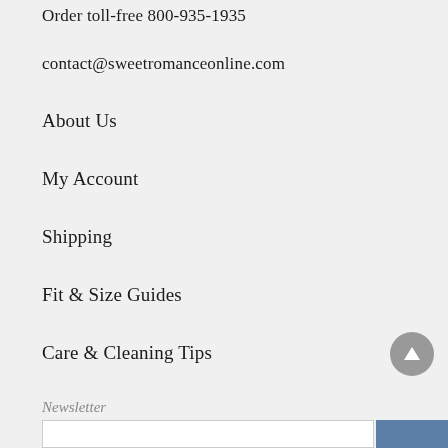Order toll-free 800-935-1935
contact@sweetromanceonline.com
About Us
My Account
Shipping
Fit & Size Guides
Care & Cleaning Tips
Newsletter